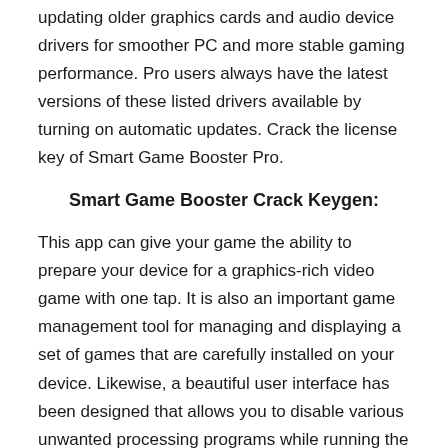updating older graphics cards and audio device drivers for smoother PC and more stable gaming performance. Pro users always have the latest versions of these listed drivers available by turning on automatic updates. Crack the license key of Smart Game Booster Pro.
Smart Game Booster Crack Keygen:
This app can give your game the ability to prepare your device for a graphics-rich video game with one tap. It is also an important game management tool for managing and displaying a set of games that are carefully installed on your device. Likewise, a beautiful user interface has been designed that allows you to disable various unwanted processing programs while running the game. You can also enjoy your favorite games with high speed and quality. However, you can now download the latest games at high speed from various sites without slowing down.